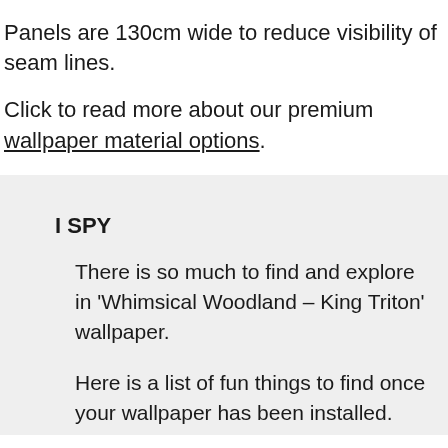Panels are 130cm wide to reduce visibility of seam lines.
Click to read more about our premium wallpaper material options.
I SPY
There is so much to find and explore in 'Whimsical Woodland – King Triton' wallpaper.
Here is a list of fun things to find once your wallpaper has been installed.